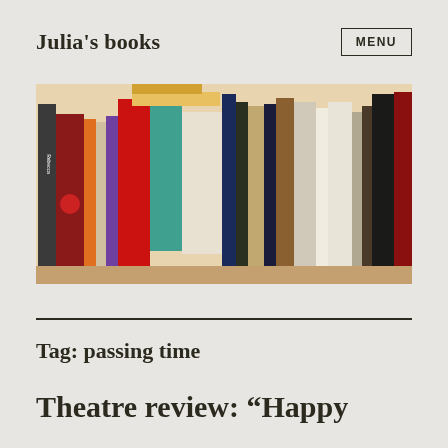Julia's books
[Figure (photo): A photograph of a bookshelf filled with various books standing upright, including visible titles such as Hilary Mantel Wolf Hall, A.S. Byatt Possession, Donna Tartt, Nigel Slater, and Literature among others.]
Tag: passing time
Theatre review: “Happy